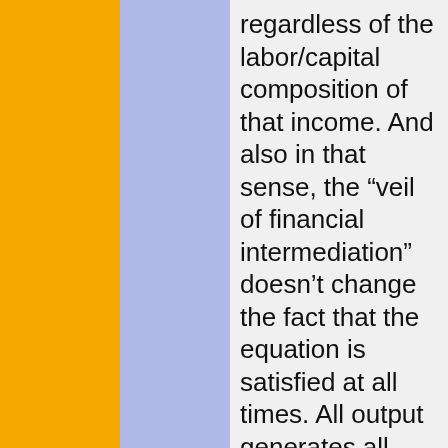regardless of the labor/capital composition of that income. And also in that sense, the “veil of financial intermediation” doesn’t change the fact that the equation is satisfied at all times. All output generates all income, and all income is spent on all output, where “all” means the aggregate output and aggregate income